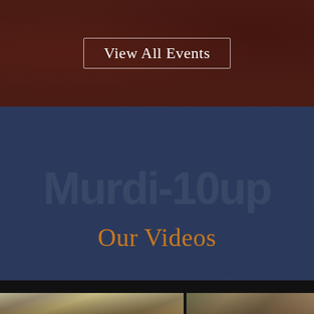View All Events
Our Videos
[Figure (photo): Two children playing outdoors near water with trees and a tent in the background]
[Figure (photo): Close-up portrait of a man wearing a blue cap]